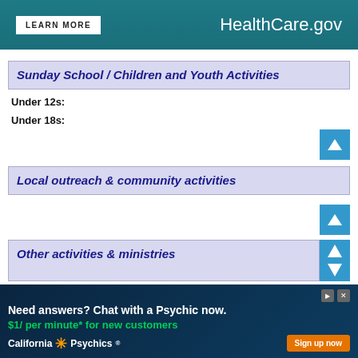[Figure (screenshot): HealthCare.gov banner ad with teal background, LEARN MORE button and HealthCare.gov logo]
Sunday School / Children and Youth Activities
Under 12s:
Under 18s:
Local outreach & community activities
Other activities & ministries
[Figure (screenshot): California Psychics advertisement: Need answers? Chat with a Psychic now. $1/ per minute* for new customers. Sign up now button.]